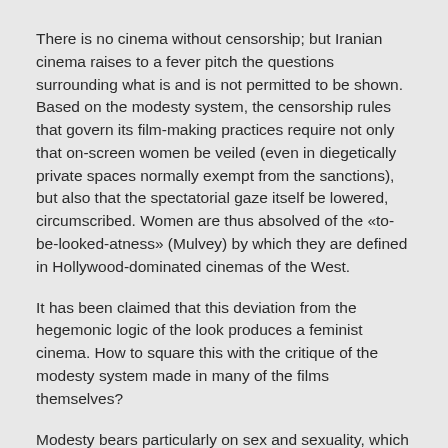There is no cinema without censorship; but Iranian cinema raises to a fever pitch the questions surrounding what is and is not permitted to be shown. Based on the modesty system, the censorship rules that govern its film-making practices require not only that on-screen women be veiled (even in diegetically private spaces normally exempt from the sanctions), but also that the spectatorial gaze itself be lowered, circumscribed. Women are thus absolved of the «to-be-looked-atness» (Mulvey) by which they are defined in Hollywood-dominated cinemas of the West.
It has been claimed that this deviation from the hegemonic logic of the look produces a feminist cinema. How to square this with the critique of the modesty system made in many of the films themselves?
Modesty bears particularly on sex and sexuality, which are what must be covered up in order to protect the self from exposure. If we take seriously the psychoanalytic